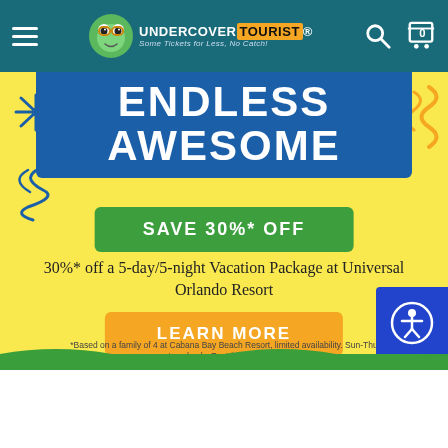Undercover Tourist — Some Tickets for Less, No Catch!
[Figure (screenshot): Promotional banner with ENDLESS AWESOME text on blue background over yellow section]
SAVE 30%* OFF
30%* off a 5-day/5-night Vacation Package at Universal Orlando Resort
LEARN MORE
*Based on a family of 4 at Cabana Bay Beach Resort, limited availability. Sun-Thu travel only. Restrictions apply.
Frog Family Disney Traditions